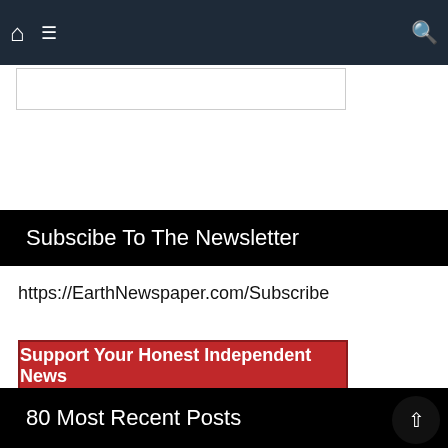Home | Menu | Search
Subscibe To The Newsletter
https://EarthNewspaper.com/Subscribe
Support Your Honest Independent News
Search ...
80 Most Recent Posts